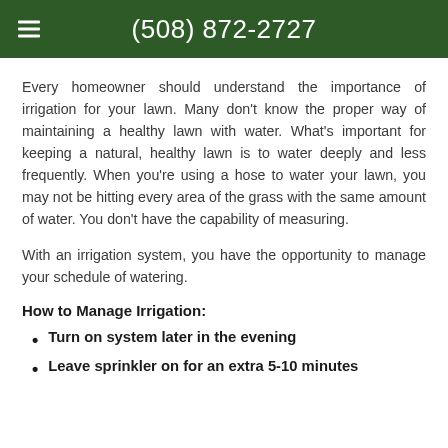(508) 872-2727
Every homeowner should understand the importance of irrigation for your lawn. Many don't know the proper way of maintaining a healthy lawn with water. What's important for keeping a natural, healthy lawn is to water deeply and less frequently. When you're using a hose to water your lawn, you may not be hitting every area of the grass with the same amount of water. You don't have the capability of measuring.
With an irrigation system, you have the opportunity to manage your schedule of watering.
How to Manage Irrigation:
Turn on system later in the evening
Leave sprinkler on for an extra 5-10 minutes